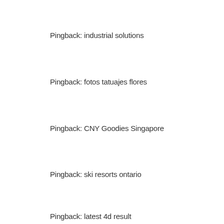Pingback: industrial solutions
Pingback: fotos tatuajes flores
Pingback: CNY Goodies Singapore
Pingback: ski resorts ontario
Pingback: latest 4d result